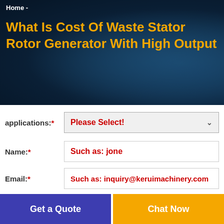Home -
What Is Cost Of Waste Stator Rotor Generator With High Output
applications:* Please Select!
Name:* Such as: jone
Email:* Such as: inquiry@keruimachinery.com
Get a Quote
Chat Now